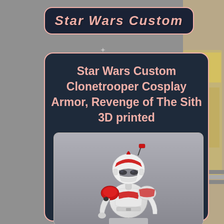Star Wars Custom
Star Wars Custom Clonetrooper Cosplay Armor, Revenge of The Sith 3D printed
[Figure (photo): A Star Wars Clone Trooper cosplay armor suit, Revenge of The Sith style, 3D printed, white and red color scheme, displayed against a grey background]